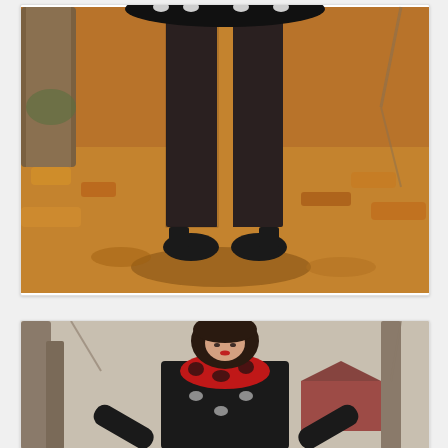[Figure (photo): Outdoor autumn photo showing lower half of a person wearing a black and white cat-print skirt, black fishnet tights, and dark shoes, standing on a ground covered in fallen orange and brown leaves, with bare tree trunks visible in the background.]
[Figure (photo): Outdoor late autumn/winter photo showing a young woman with short dark hair wearing a black long-sleeve top, a black and white cat-print dress/jumper, and a red and black leopard-print scarf. She is looking down with arms extended in an outdoor wooded setting with bare trees and a red barn or shed visible in the background.]